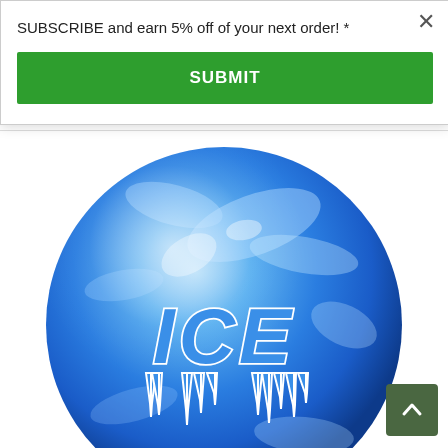SUBSCRIBE and earn 5% off of your next order! *
SUBMIT
[Figure (photo): A blue marbled bowling ball with 'ICE' text in a dripping icy letter style logo on the surface]